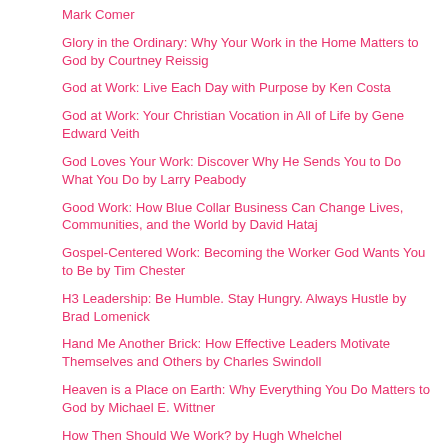Mark Comer
Glory in the Ordinary: Why Your Work in the Home Matters to God by Courtney Reissig
God at Work: Live Each Day with Purpose by Ken Costa
God at Work: Your Christian Vocation in All of Life by Gene Edward Veith
God Loves Your Work: Discover Why He Sends You to Do What You Do by Larry Peabody
Good Work: How Blue Collar Business Can Change Lives, Communities, and the World by David Hataj
Gospel-Centered Work: Becoming the Worker God Wants You to Be by Tim Chester
H3 Leadership: Be Humble. Stay Hungry. Always Hustle by Brad Lomenick
Hand Me Another Brick: How Effective Leaders Motivate Themselves and Others by Charles Swindoll
Heaven is a Place on Earth: Why Everything You Do Matters to God by Michael E. Wittner
How Then Should We Work? by Hugh Whelchel
How to Lead When You're Not in Charge: Leveraging Influence When You Lack Authority by Clay Scroggins